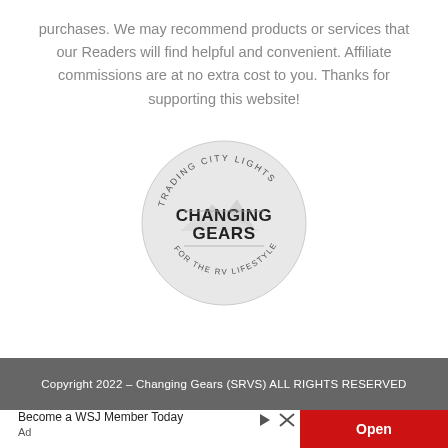purchases. We may recommend products or services that our Readers will find helpful and convenient. Affiliate commissions are at no extra cost to you. Thanks for supporting this website!
[Figure (logo): Circular logo with text 'TRADING CITY LIGHTS' around top arc, 'CHANGING GEARS' in bold in center, mountain/landscape graphic, and 'FOR THE RV LIFESTYLE' around bottom arc. Light gray background circle.]
Copyright 2022 – Changing Gears (SRVS) ALL RIGHTS RESERVED
Become a WSJ Member Today
Ad